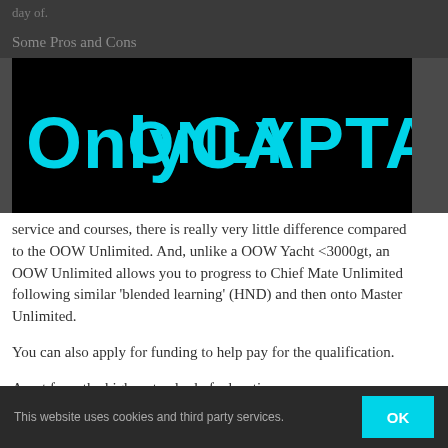day of.
Some Pros and Cons
[Figure (logo): OnlyCaptains website logo — white text 'ONLY CAPTAINS' in cyan on black background with compass/drafting instrument icons incorporated into the letters A]
service and courses, there is really very little difference compared to the OOW Unlimited. And, unlike a OOW Yacht <3000gt, an OOW Unlimited allows you to progress to Chief Mate Unlimited following similar 'blended learning' (HND) and then onto Master Unlimited.
You can also apply for funding to help pay for the qualification.
Apart from the higher standard of education,
This website uses cookies and third party services.